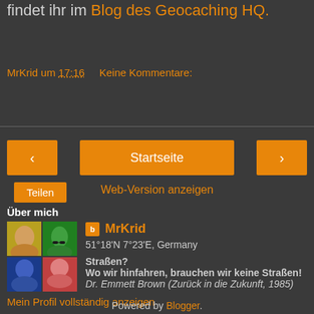findet ihr im Blog des Geocaching HQ.
MrKrid um 17:16   Keine Kommentare:
Teilen
< Startseite >
Web-Version anzeigen
Über mich
MrKrid
51°18'N 7°23'E, Germany
Straßen?
Wo wir hinfahren, brauchen wir keine Straßen!
Dr. Emmett Brown (Zurück in die Zukunft, 1985)
Mein Profil vollständig anzeigen
Powered by Blogger.